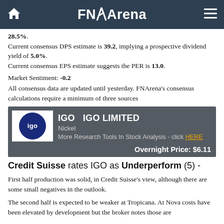FNArena
28.5%.
Current consensus DPS estimate is 39.2, implying a prospective dividend yield of 5.0%.
Current consensus EPS estimate suggests the PER is 13.0.
Market Sentiment: -0.2
All consensus data are updated until yesterday. FNArena's consensus calculations require a minimum of three sources
[Figure (logo): IGO Limited stock card with logo, sector Nickel, overnight price $6.11]
Credit Suisse rates IGO as Underperform (5) -
First half production was solid, in Credit Suisse's view, although there are some small negatives in the outlook.
The second half is expected to be weaker at Tropicana. At Nova costs have been elevated by development but the broker notes those are